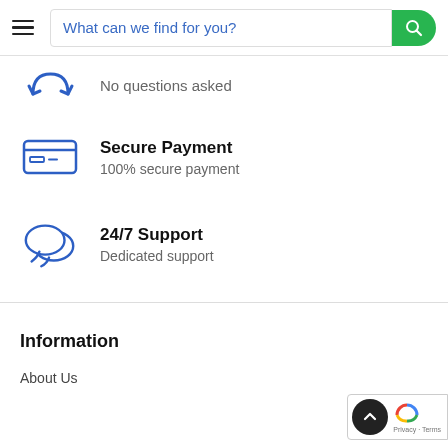What can we find for you?
[Figure (illustration): Partial view of a circular arrow/return icon (blue outline) at top left, with text 'No questions asked' below it]
No questions asked
[Figure (illustration): Credit card icon in blue outline]
Secure Payment
100% secure payment
[Figure (illustration): Two overlapping speech bubble icons in blue outline]
24/7 Support
Dedicated support
Information
About Us